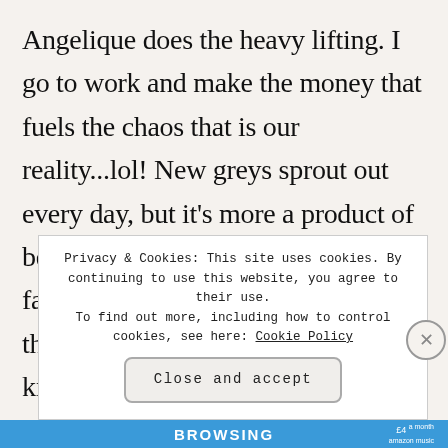Angelique does the heavy lifting. I go to work and make the money that fuels the chaos that is our reality...lol! New greys sprout out every day, but it's more a product of being 38 years old than being a father of triplets. Yes, a lot of things they do are frustrating, but they're kids and that comes with the territory. We spend e s
Privacy & Cookies: This site uses cookies. By continuing to use this website, you agree to their use.
To find out more, including how to control cookies, see here: Cookie Policy
Close and accept
BROWSING